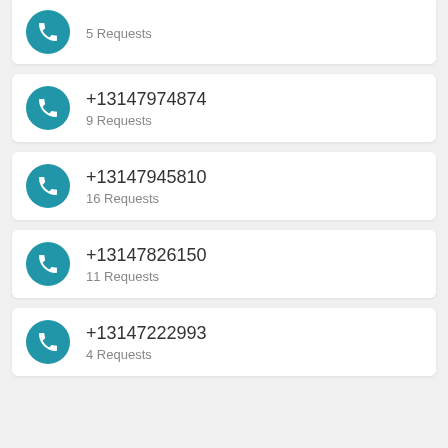5 Requests
+13147974874
9 Requests
+13147945810
16 Requests
+13147826150
11 Requests
+13147222993
4 Requests